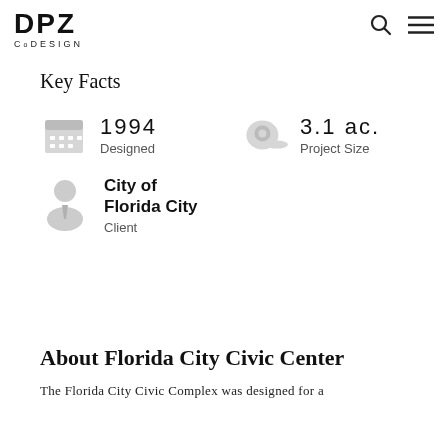DPZ CoDESIGN
Key Facts
1994
Designed
3.1 ac.
Project Size
City of Florida City
Client
About Florida City Civic Center
The Florida City Civic Complex was designed for a